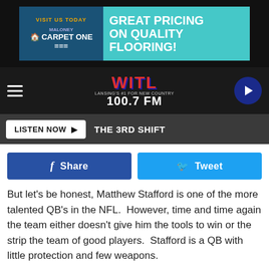[Figure (screenshot): Advertisement banner for Carpet One flooring: 'VISIT US TODAY - GREAT PRICING ON QUALITY FLOORING!']
[Figure (logo): WITL 100.7 FM Lansing's #1 For New Country radio station logo with navigation bar, hamburger menu, and play button]
[Figure (screenshot): Listen Now button with 'THE 3RD SHIFT' text on dark bar]
[Figure (screenshot): Facebook Share and Twitter Tweet social sharing buttons]
But let's be honest, Matthew Stafford is one of the more talented QB's in the NFL.  However, time and time again the team either doesn't give him the tools to win or the strip the team of good players.  Stafford is a QB with little protection and few weapons.
Whoever makes the trading decision at the Lions organization should be on the chopping block.  Not Matthew